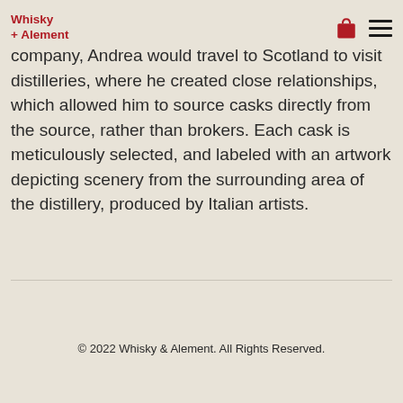Whisky + Alement
company, Andrea would travel to Scotland to visit distilleries, where he created close relationships, which allowed him to source casks directly from the source, rather than brokers. Each cask is meticulously selected, and labeled with an artwork depicting scenery from the surrounding area of the distillery, produced by Italian artists.
© 2022 Whisky & Alement. All Rights Reserved.